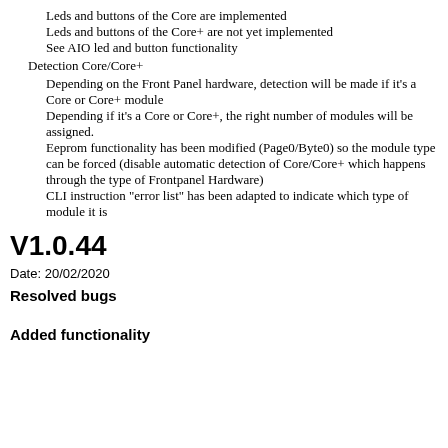Leds and buttons of the Core are implemented
Leds and buttons of the Core+ are not yet implemented
See AIO led and button functionality
Detection Core/Core+
Depending on the Front Panel hardware, detection will be made if it's a Core or Core+ module
Depending if it's a Core or Core+, the right number of modules will be assigned.
Eeprom functionality has been modified (Page0/Byte0) so the module type can be forced (disable automatic detection of Core/Core+ which happens through the type of Frontpanel Hardware)
CLI instruction "error list" has been adapted to indicate which type of module it is
V1.0.44
Date: 20/02/2020
Resolved bugs
Added functionality